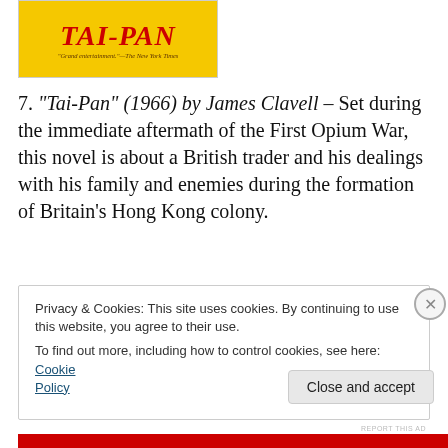[Figure (illustration): Book cover of Tai-Pan with yellow background, red serif title text 'TAI-PAN', and tagline quote from the New York Times]
7. “Tai-Pan” (1966) by James Clavell – Set during the immediate aftermath of the First Opium War, this novel is about a British trader and his dealings with his family and enemies during the formation of Britain’s Hong Kong colony.
REPORT THIS AD
Privacy & Cookies: This site uses cookies. By continuing to use this website, you agree to their use.
To find out more, including how to control cookies, see here: Cookie Policy
Close and accept
REPORT THIS AD